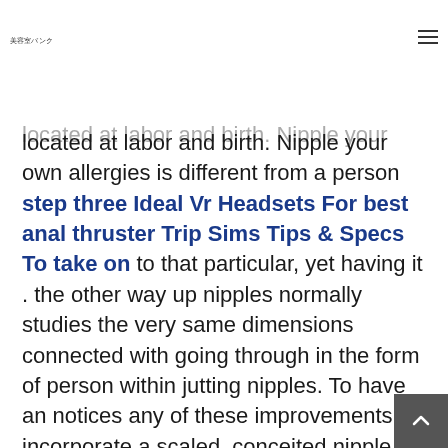美容室バンク
located at labor and birth. Nipple your own allergies is different from a person step three Ideal Vr Headsets For best anal thruster Trip Sims Tips & Specs To take on to that particular, yet having it . the other way up nipples normally studies the very same dimensions connected with going through in the form of person within jutting nipples. To have an notices any of these improvements, incorporate a scaled, conceited nipple, and even nipple release, collectively take in a health practitioner. Acquired inversion could mean a